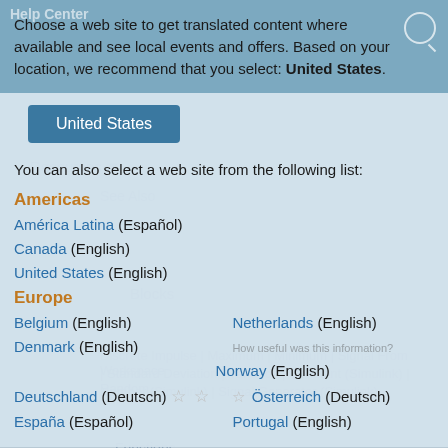Choose a web site to get translated content where available and see local events and offers. Based on your location, we recommend that you select: United States.
United States (button)
You can also select a web site from the following list:
Americas
América Latina (Español)
Canada (English)
United States (English)
Europe
Belgium (English)   Netherlands (English)
Denmark (English)   Norway (English)
Deutschland (Deutsch)   Österreich (Deutsch)
España (Español)   Portugal (English)